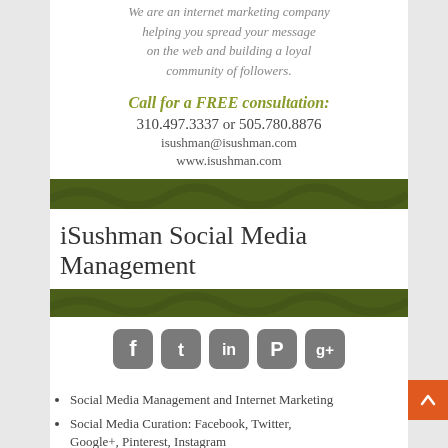We are an internet marketing company helping you spread your message on the web and building a loyal community of followers.
Call for a FREE consultation:
310.497.3337 or 505.780.8876
isushman@isushman.com
www.isushman.com
iSushman Social Media Management
[Figure (illustration): Social media platform icons: Facebook, Twitter, LinkedIn, Pinterest, Google+]
Social Media Management and Internet Marketing
Social Media Curation: Facebook, Twitter, Google+, Pinterest, Instagram
Marketing Planning and Strategy
Facebook and Twitter Ads
Google AdWords
Search Engine Marketing and Optimization